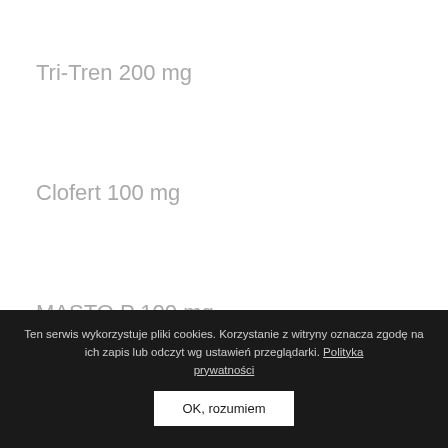Tri-Tren 200 mg
Clofert 100 mg
MASTO P 100 mg
Ten serwis wykorzystuje pliki cookies. Korzystanie z witryny oznacza zgodę na ich zapis lub odczyt wg ustawień przeglądarki. Polityka prywatności OK, rozumiem